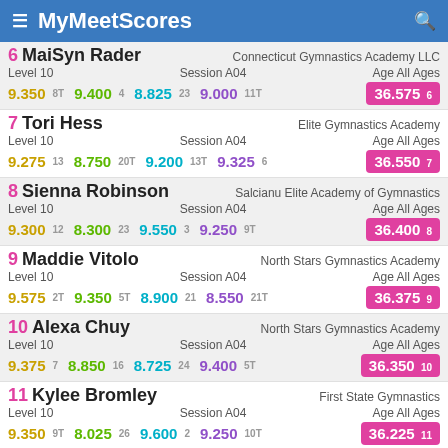MyMeetScores
6 MaiSyn Rader | Connecticut Gymnastics Academy LLC | Level 10 | Session A04 | Age All Ages | 9.350 8T | 9.400 4 | 8.825 23 | 9.000 11T | 36.575 6
7 Tori Hess | Elite Gymnastics Academy | Level 10 | Session A04 | Age All Ages | 9.275 13 | 8.750 20T | 9.200 13T | 9.325 6 | 36.550 7
8 Sienna Robinson | Salcianu Elite Academy of Gymnastics | Level 10 | Session A04 | Age All Ages | 9.300 12 | 8.300 23 | 9.550 3 | 9.250 9T | 36.400 8
9 Maddie Vitolo | North Stars Gymnastics Academy | Level 10 | Session A04 | Age All Ages | 9.575 2T | 9.350 5T | 8.900 21 | 8.550 21T | 36.375 9
10 Alexa Chuy | North Stars Gymnastics Academy | Level 10 | Session A04 | Age All Ages | 9.375 7 | 8.850 16 | 8.725 24 | 9.400 5T | 36.350 10
11 Kylee Bromley | First State Gymnastics | Level 10 | Session A04 | Age All Ages | 9.350 9T | 8.025 26 | 9.600 2 | 9.250 10T | 36.225 11
12 Takoda Berry | Salcianu Elite Academy of Gymnastics | Level 10 | Session A04 | Age All Ages | 9.325 10T | 9.075 11 | 9.200 14T | 8.600 18T | 36.200 12